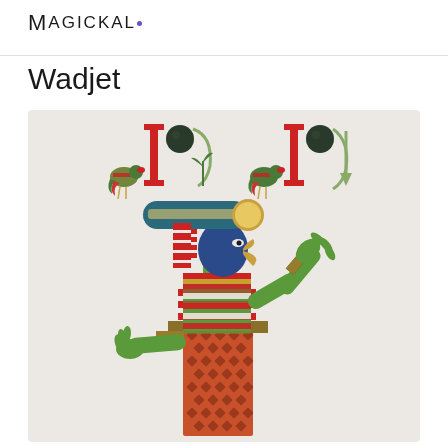MAGICKAL
Wadjet
[Figure (illustration): Ancient Egyptian illustration of Wadjet, a deity with a cobra/vulture head wearing a tall blue and teal crown with red and white striped nemes headdress. The figure has green skin, arms outstretched, wearing decorative bracelets and a red and gold diamond-patterned kilt. Above the figure are two groups of Egyptian hieroglyphs depicting bird figures (vultures/falcons in colorful traditional style) alongside symbolic hieroglyphic elements on a beige background.]